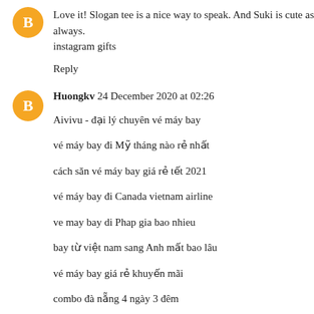[Figure (illustration): Orange circular avatar with a white blogger 'B' icon]
Love it! Slogan tee is a nice way to speak. And Suki is cute as always. instagram gifts
Reply
[Figure (illustration): Orange circular avatar with a white blogger 'B' icon]
Huongkv  24 December 2020 at 02:26
Aivivu - đại lý chuyên vé máy bay
vé máy bay đi Mỹ tháng nào rẻ nhất
cách săn vé máy bay giá rẻ tết 2021
vé máy bay đi Canada vietnam airline
ve may bay di Phap gia bao nhieu
bay từ việt nam sang Anh mất bao lâu
vé máy bay giá rẻ khuyến mãi
combo đà nẵng 4 ngày 3 đêm